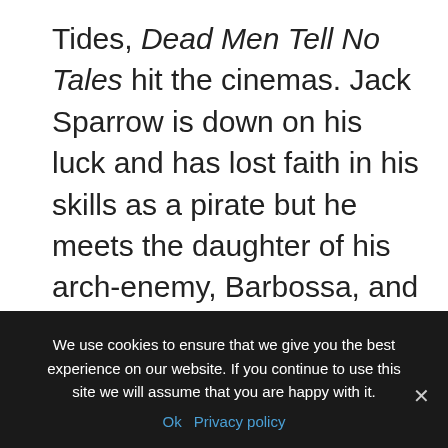Tides, Dead Men Tell No Tales hit the cinemas. Jack Sparrow is down on his luck and has lost faith in his skills as a pirate but he meets the daughter of his arch-enemy, Barbossa, and the son of his old friend, Will Turner. All three go on a quest to find the Trident of Poseidon which has the power to break all curses on the sea which includes the one that afflicts Will Turner. By the end of the film, it is hinted that another sequel might also follow.
We use cookies to ensure that we give you the best experience on our website. If you continue to use this site we will assume that you are happy with it. Ok  Privacy policy